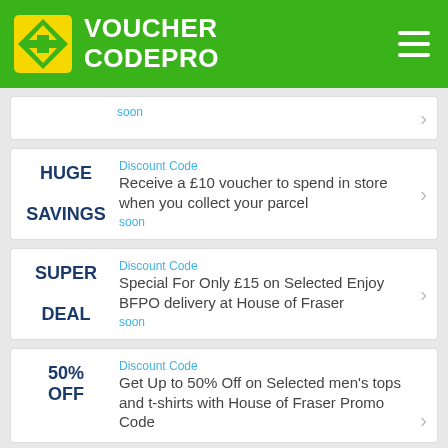VOUCHER CODEPRO
soon
Discount Code
Receive a £10 voucher to spend in store when you collect your parcel
HUGE SAVINGS
soon
Discount Code
Special For Only £15 on Selected Enjoy BFPO delivery at House of Fraser
SUPER DEAL
soon
Discount Code
Get Up to 50% Off on Selected men's tops and t-shirts with House of Fraser Promo Code
50% OFF